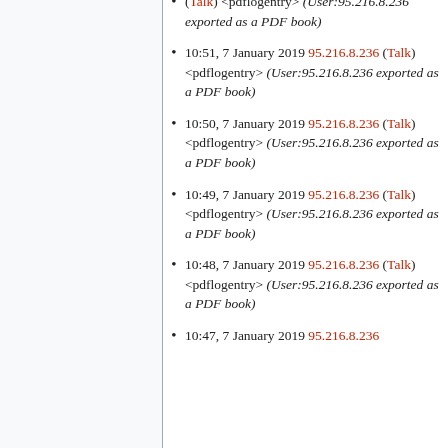(Talk) <pdflogentry> (User:95.216.8.236 exported as a PDF book)
10:51, 7 January 2019 95.216.8.236 (Talk) <pdflogentry> (User:95.216.8.236 exported as a PDF book)
10:50, 7 January 2019 95.216.8.236 (Talk) <pdflogentry> (User:95.216.8.236 exported as a PDF book)
10:49, 7 January 2019 95.216.8.236 (Talk) <pdflogentry> (User:95.216.8.236 exported as a PDF book)
10:48, 7 January 2019 95.216.8.236 (Talk) <pdflogentry> (User:95.216.8.236 exported as a PDF book)
10:47, 7 January 2019 95.216.8.236